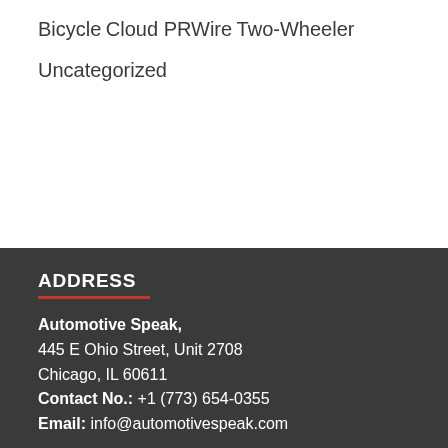Bicycle
Cloud PRWire
Two-Wheeler
Uncategorized
ADDRESS
Automotive Speak,
445 E Ohio Street, Unit 2708
Chicago, IL 60611
Contact No.: +1 (773) 654-0355
Email: info@automotivespeak.com